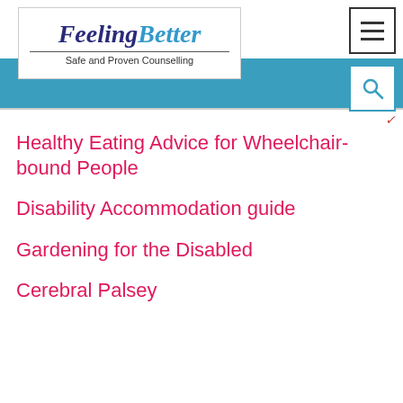[Figure (logo): FeelingBetter logo with tagline 'Safe and Proven Counselling']
FeelingBetter — Safe and Proven Counselling — navigation bar with hamburger menu and search
Healthy Eating Advice for Wheelchair-bound People
Disability Accommodation guide
Gardening for the Disabled
Cerebral Palsey